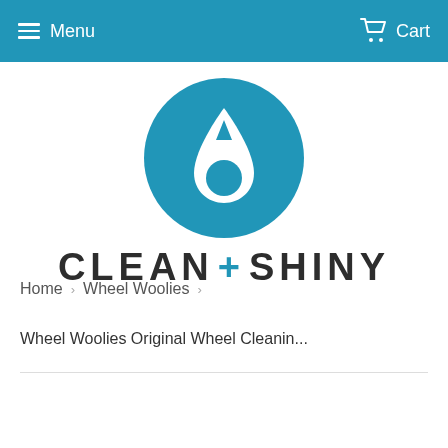Menu   Cart
[Figure (logo): Clean+Shiny logo with blue circle containing a water drop icon above the text CLEAN+SHINY]
Home › Wheel Woolies ›
Wheel Woolies Original Wheel Cleanin...